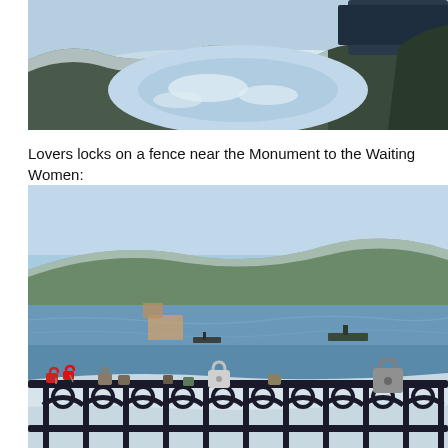[Figure (photo): Aerial or elevated view of a snowy winter landscape with a frozen or partially frozen body of water, snow-covered ground, and dark rocky or treed terrain. A dark object partially visible at top.]
Lovers locks on a fence near the Monument to the Waiting Women:
[Figure (photo): Photo of love locks (padlocks) attached to an ornate dark metal fence railing, with a panoramic view of a bay or fjord with ships on the water, hills in the background, snow on the ground, and a clear blue sky. Location appears to be Murmansk, Russia.]